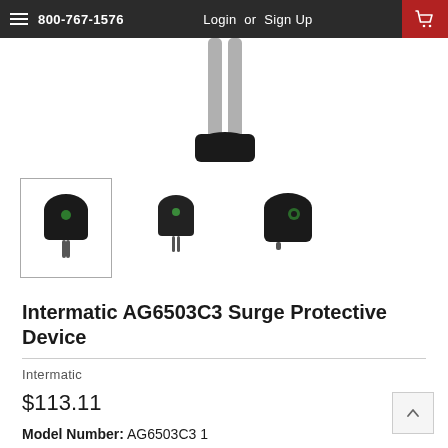800-767-1576  Login or Sign Up
[Figure (photo): Top portion of a black surge protective device with two gray wires extending upward, shown on white background]
[Figure (photo): Three thumbnail views of the Intermatic AG6503C3 Surge Protective Device: front view (selected, with border), side view, and angled view]
Intermatic AG6503C3 Surge Protective Device
Intermatic
$113.11
Model Number: AG6503C3 1